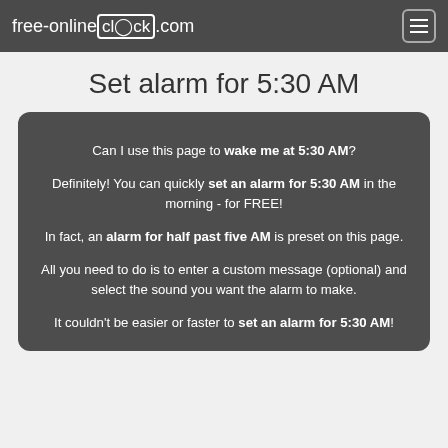free-onlineclock.com
Set alarm for 5:30 AM
Can I use this page to wake me at 5:30 AM?
Definitely! You can quickly set an alarm for 5:30 AM in the morning - for FREE!
In fact, an alarm for half past five AM is preset on this page.
All you need to do is to enter a custom message (optional) and select the sound you want the alarm to make.
It couldn't be easier or faster to set an alarm for 5:30 AM!